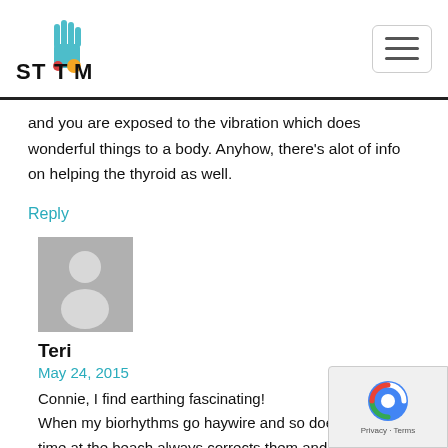STTM
and you are exposed to the vibration which does wonderful things to a body. Anyhow, there’s alot of info on helping the thyroid as well.
Reply
[Figure (photo): Default user avatar - grey silhouette of a person on grey background]
Teri
May 24, 2015
Connie, I find earthing fascinating!
When my biorhythms go haywire and so does my sleep, time at the beach always corrects them and gets me in sync.
I always assumed it was the negative ions and sun but